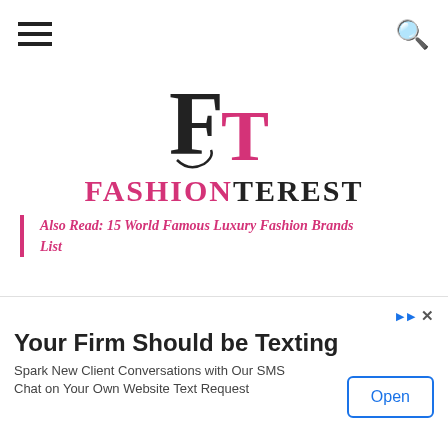FashionTerest — navigation header with hamburger menu and search icon
[Figure (logo): FashionTerest logo: stylized FT monogram with F in black and T in pink, above the text FASHIONTEREST with FASHION in pink and TEREST in black]
Also Read: 15 World Famous Luxury Fashion Brands List
United Arrows
[Figure (photo): Exterior photo of a modern glass-facade building with grid window pattern and trees in foreground]
Your Firm Should be Texting
Spark New Client Conversations with Our SMS Chat on Your Own Website Text Request